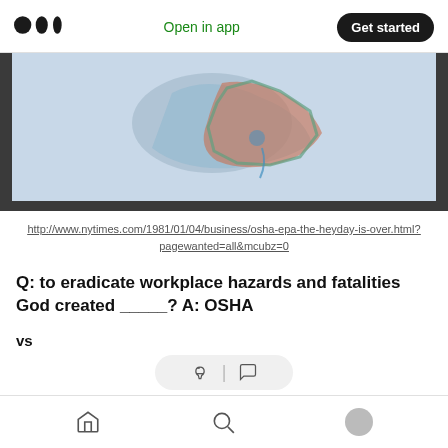Medium logo | Open in app | Get started
[Figure (photo): A blurry photograph displayed on a screen or monitor, showing what appears to be a colorful map, possibly of Mexico or North America, against a dark frame background.]
http://www.nytimes.com/1981/01/04/business/osha-epa-the-heyday-is-over.html?pagewanted=all&mcubz=0
Q: to eradicate workplace hazards and fatalities God created _____? A: OSHA
vs
In 1981, President Reagan gutted the OSHA budget
Home | Search | Profile